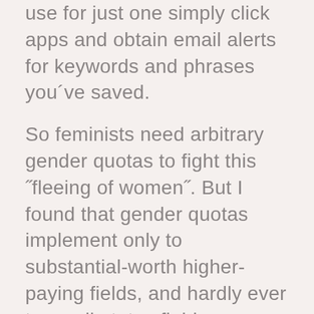use for just one simply click apps and obtain email alerts for keywords and phrases you've saved.
So feminists need arbitrary gender quotas to fight this ˝fleeing of women˝. But I found that gender quotas implement only to substantial-worth higher-paying fields, and hardly ever to small-status fields.
You do not require a certain diploma to nab 1 of such jobs, but digital experience will help, and you've got to be within the innovative on the latest technology